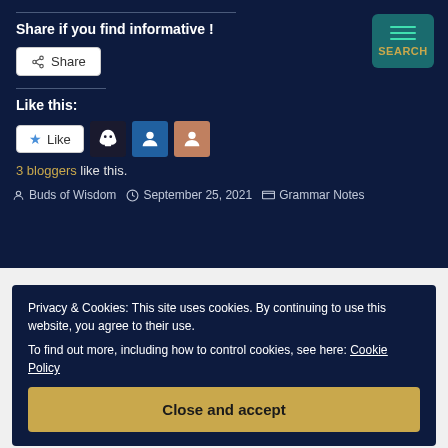Share if you find informative !
[Figure (screenshot): Share button with share icon]
Like this:
[Figure (screenshot): Like button with star icon and 3 blogger avatars]
3 bloggers like this.
Buds of Wisdom   September 25, 2021   Grammar Notes
[Figure (screenshot): Search button with teal hamburger icon and SEARCH label]
Privacy & Cookies: This site uses cookies. By continuing to use this website, you agree to their use.
To find out more, including how to control cookies, see here: Cookie Policy
Close and accept